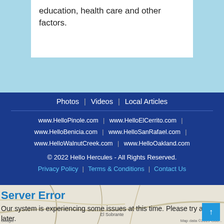education, health care and other factors.
[Figure (map): Background map showing the Hercules/El Sobrante area in California]
Photos | Videos | Local Articles
www.HelloPinole.com | www.HelloElCerrito.com | www.HelloBenicia.com | www.HelloSanRafael.com | www.HelloWalnutCreek.com | www.HelloOakland.com
© 2022 Hello Hercules - All Rights Reserved.
Privacy Policy | Terms & Conditions | Contact Us
Server Error
Our system is experiencing some issues at this time. Please try again later.